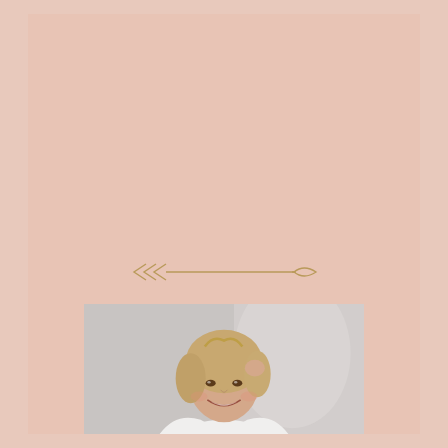[Figure (illustration): Decorative golden arrow pointing right, with feather-style fletching on the left and a leaf-shaped arrowhead on the right, rendered on a dusty rose/blush pink background]
[Figure (photo): Portrait photo of a smiling woman with blonde wavy bob hair, wearing a white top, photographed against a light grey/white background. She is touching her hair with one hand and smiling broadly.]